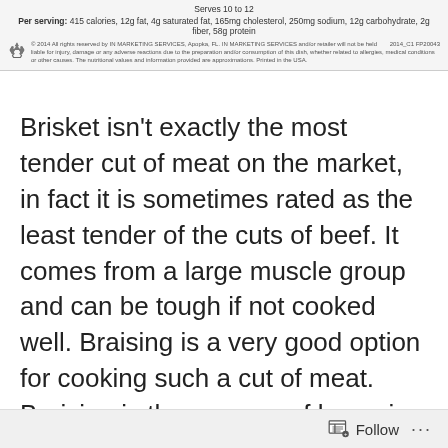Serves 10 to 12
Per serving: 415 calories, 12g fat, 4g saturated fat, 165mg cholesterol, 250mg sodium, 12g carbohydrate, 2g fiber, 58g protein
© 2014 All rights reserved by IN MARKETING SERVICES, Apopka, FL. IN MARKETING SERVICES and/or retailer will not be held liable for injury, damage or any adverse reactions due to the preparation and/or consumption of this dish, whether related to allergies, medical conditions or other causes. The nutritional values and information provided are approximations. Printed in the USA. 2014_C1 FP20043
Brisket isn't exactly the most tender cut of meat on the market, in fact it is sometimes rated as the least tender of the cuts of beef. It comes from a large muscle group and can be tough if not cooked well. Braising is a very good option for cooking such a cut of meat. Braising is the process of browning the meat on all sides, then cooking slowly at low heat – sometimes in a simmer sauce – until the meat fibers have loosened and are succulent and tender. A pot roast is a type of braised meat. Brisket is often used in barbecue because it can be slow roasted to capture the perfect balance of tenderness and flavor. A braised brisket…